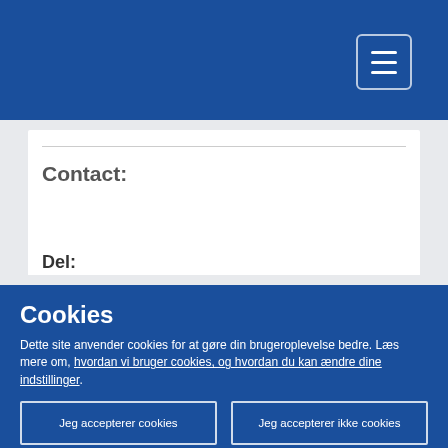Navigation header bar with menu button
Contact:
Del:
[Figure (other): Loading spinner dots circle]
Cookies
Dette site anvender cookies for at gøre din brugeroplevelse bedre. Læs mere om, hvordan vi bruger cookies, og hvordan du kan ændre dine indstillinger.
Jeg accepterer cookies
Jeg accepterer ikke cookies